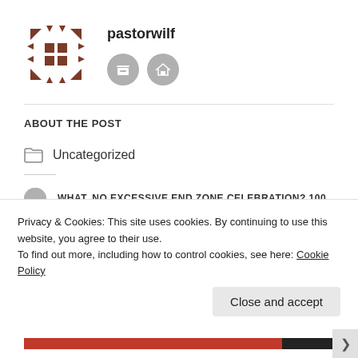[Figure (logo): Brown geometric logo made of triangles and squares forming a cross/expand pattern]
pastorwilf
[Figure (infographic): Two grey circular icon buttons: archive box icon and home icon]
ABOUT THE POST
Uncategorized
WHAT, NO EXCESSIVE END ZONE CELEBRATION? 100
Privacy & Cookies: This site uses cookies. By continuing to use this website, you agree to their use.
To find out more, including how to control cookies, see here: Cookie Policy